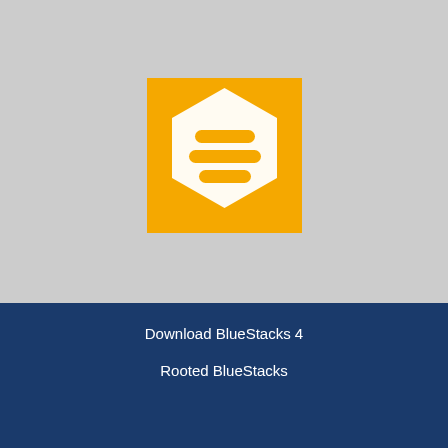[Figure (logo): BlueStacks / Bumble app icon — golden yellow square with a white hexagon outline containing three horizontal rounded bars stacked inside]
Bumble app for PC Windows 10 and Mac -Free Download and Install
[Figure (logo): DMCA PROTECTED badge — green left panel with white text 'DMCA' and black right panel with white text 'PROTECTED']
Download BlueStacks 4
Rooted BlueStacks